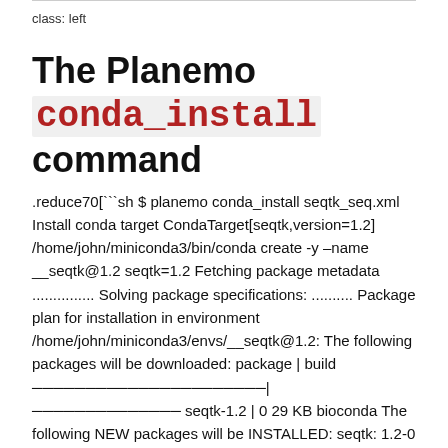class: left
The Planemo conda_install command
.reduce70[```sh $ planemo conda_install seqtk_seq.xml Install conda target CondaTarget[seqtk,version=1.2] /home/john/miniconda3/bin/conda create -y –name __seqtk@1.2 seqtk=1.2 Fetching package metadata ............... Solving package specifications: .......... Package plan for installation in environment /home/john/miniconda3/envs/__seqtk@1.2: The following packages will be downloaded: package | build ──────────────────────|────────────── seqtk-1.2 | 0 29 KB bioconda The following NEW packages will be INSTALLED: seqtk: 1.2-0 bioconda zlib: 1.2.8-3 Fetching packages … …. #
T